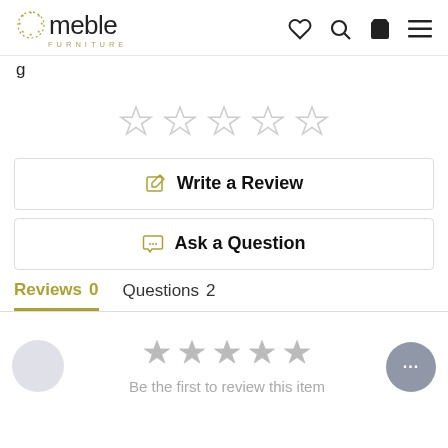meble FURNITURE
[Figure (other): Five empty star rating icons in a row]
Write a Review
Ask a Question
Reviews 0   Questions 2
[Figure (other): Five grey star icons with text 'Be the first to review this item']
Be the first to review this item